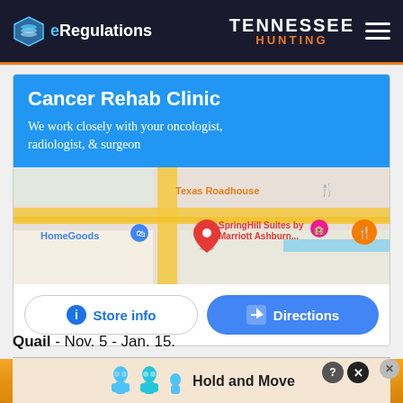eRegulations | TENNESSEE HUNTING
[Figure (screenshot): Advertisement card for Cancer Rehab Clinic with Google Map showing location near Texas Roadhouse, HomeGoods, and SpringHill Suites by Marriott Ashburn, with Store info and Directions buttons]
Quail - Nov. 5 - Jan. 15.
[Figure (photo): Orange blurred background image, possibly a hunting-related photo]
[Figure (screenshot): Bottom advertisement strip showing Hold and Move game ad with cartoon characters, close button (X) and help button (?)]